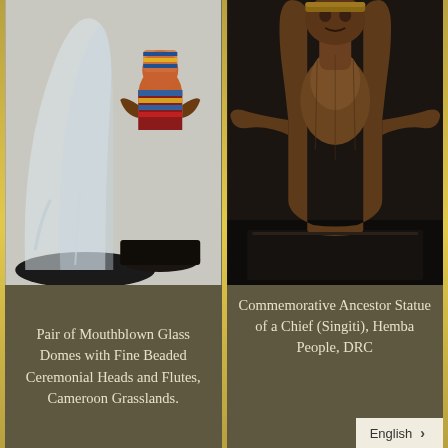[Figure (photo): Close-up photograph of mouthblown glass domes with fine beaded ceremonial heads and flutes from Cameroon Grasslands, showing colorful beadwork on a dark base with glass vessel.]
Pair of Mouthblown Glass Domes with Fine Beaded Ceremonial Heads and Flutes, Cameroon Grasslands.
[Figure (photo): Close-up photograph of a dark wooden commemorative ancestor statue of a chief (Singiti) from the Hemba People, DRC, showing carved facial features and torso.]
Commemorative Ancestor Statue of a Chief (Singiti), Hemba People, DRC
English